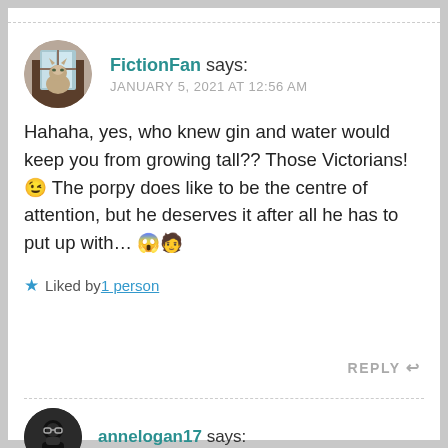FictionFan says: JANUARY 5, 2021 AT 12:56 AM
Hahaha, yes, who knew gin and water would keep you from growing tall?? Those Victorians! 😉 The porpy does like to be the centre of attention, but he deserves it after all he has to put up with… 😱🧑
Liked by 1 person
REPLY
annelogan17 says: